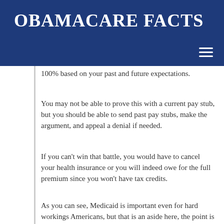OBAMACARE FACTS
100% based on your past and future expectations.
You may not be able to prove this with a current pay stub, but you should be able to send past pay stubs, make the argument, and appeal a denial if needed.
If you can’t win that battle, you would have to cancel your health insurance or you will indeed owe for the full premium since you won’t have tax credits.
As you can see, Medicaid is important even for hard workings Americans, but that is an aside here, the point is you still have choices, but must act ASAP